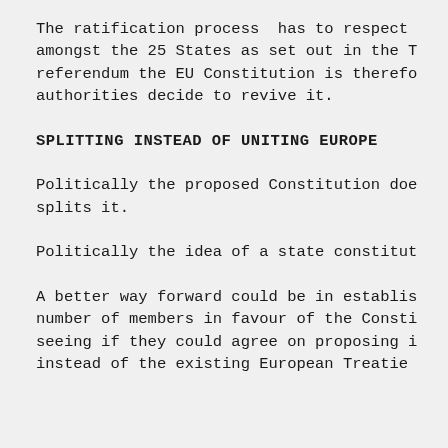The ratification process has to respect amongst the 25 States as set out in the T referendum the EU Constitution is therefo authorities decide to revive it.
SPLITTING INSTEAD OF UNITING EUROPE
Politically the proposed Constitution doe splits it.
Politically the idea of a state constitut
A better way forward could be in establis number of members in favour of the Consti seeing if they could agree on proposing i instead of the existing European Treatie